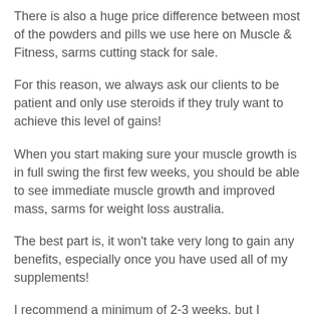There is also a huge price difference between most of the powders and pills we use here on Muscle & Fitness, sarms cutting stack for sale.
For this reason, we always ask our clients to be patient and only use steroids if they truly want to achieve this level of gains!
When you start making sure your muscle growth is in full swing the first few weeks, you should be able to see immediate muscle growth and improved mass, sarms for weight loss australia.
The best part is, it won't take very long to gain any benefits, especially once you have used all of my supplements!
I recommend a minimum of 2-3 weeks, but I recommend going weeks longer if you are able…